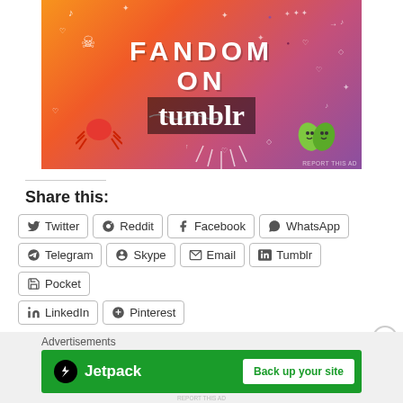[Figure (illustration): Fandom on Tumblr advertisement banner with orange-to-purple gradient background, white doodles, and bold text reading FANDOM ON tumblr]
Share this:
Twitter
Reddit
Facebook
WhatsApp
Telegram
Skype
Email
Tumblr
Pocket
LinkedIn
Pinterest
Advertisements
[Figure (illustration): Jetpack advertisement banner with green background showing Jetpack logo and Back up your site button]